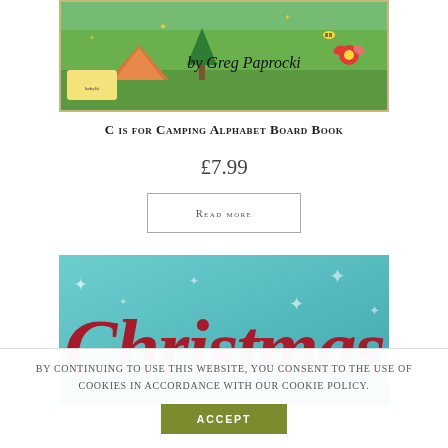[Figure (illustration): Book cover for 'C is for Camping Alphabet Board Book' by Greg Paprocki, showing green outdoor/camping scene with illustrated characters and flora]
C is for Camping Alphabet Board Book
£7.99
Read more
[Figure (illustration): Partial book cover showing 'Christmas' text in large red italic lettering on a teal/light-blue background with snowflake decorations]
By continuing to use this website, you consent to the use of cookies in accordance with our Cookie Policy.
Accept